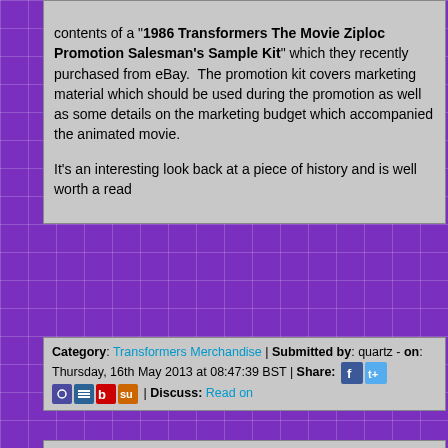contents of a '1986 Transformers The Movie Ziploc Promotion Salesman's Sample Kit' which they recently purchased from eBay. The promotion kit covers marketing material which should be used during the promotion as well as some details on the marketing budget which accompanied the animated movie.

It's an interesting look back at a piece of history and is well worth a read
Category: Transformers Merchandise | Submitted by: quartz - on: Thursday, 16th May 2013 at 08:47:39 BST | Share: [icons] | Discuss: Read on
Transformers 4 Won't Film At GM's Grand Blanc Weld Tool Center, Says Plant Spokesman
[Figure (photo): Colorful board game or toy image with orange, teal, and green colors showing game pieces and star/explosion graphics]
Back in